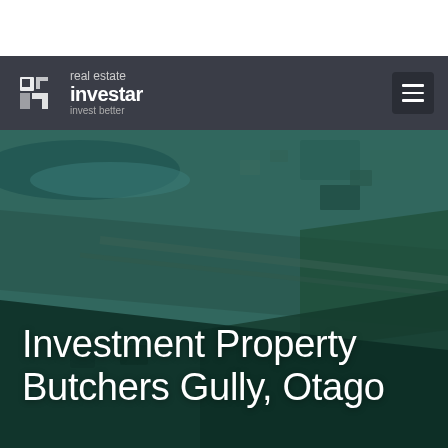[Figure (logo): Real Estate Investar logo — white icon and text on dark nav bar]
[Figure (photo): Aerial photograph of Butchers Gully, Otago showing coastline, roads, and residential areas with teal/dark overlay]
Investment Property Butchers Gully, Otago